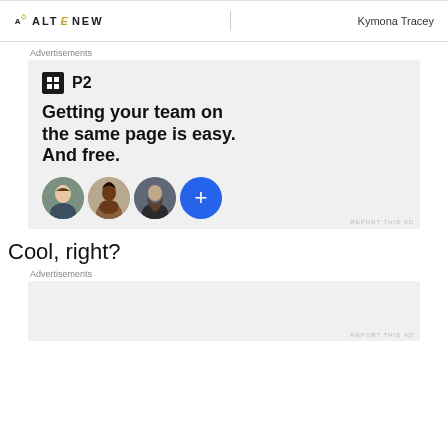ALTENEW | Kymona Tracey
Advertisements
[Figure (infographic): P2 advertisement: square logo with grid icon, headline 'Getting your team on the same page is easy. And free.' with three circular profile photos and a blue plus button]
Cool, right?
Advertisements
[Figure (other): Second advertisement placeholder box (empty, light gray background)]